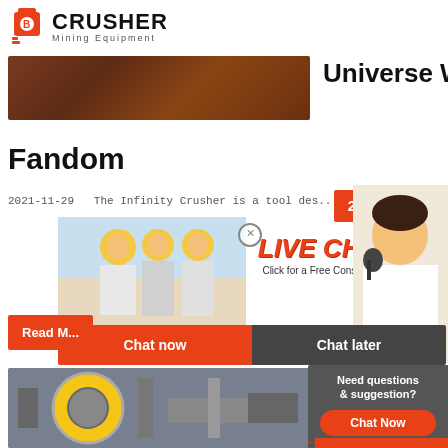CRUSHER Mining Equipment
[Figure (photo): Industrial/mining equipment photo strip at top]
Universe Wiki
Fandom
2021-11-29   The Infinity Crusher is a tool des...
[Figure (infographic): 24Hrs Online badge and Live Chat popup with workers, Chat now / Chat later buttons, and support agent]
[Figure (photo): Industrial crusher/mill equipment photo]
Crush...
What...
Crusher R...
[Figure (infographic): Right side panel: Need questions & suggestion? Chat Now, Enquiry, limingjlmofen@sina.com]